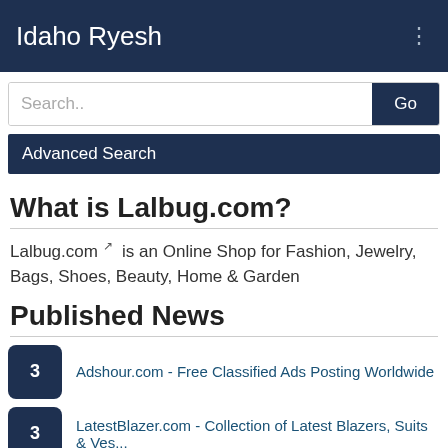Idaho Ryesh
Search..
Advanced Search
What is Lalbug.com?
Lalbug.com is an Online Shop for Fashion, Jewelry, Bags, Shoes, Beauty, Home & Garden
Published News
3  Adshour.com - Free Classified Ads Posting Worldwide
3  LatestBlazer.com - Collection of Latest Blazers, Suits & Ves...
2  WatchesWare.com - Wonderful Watches Collection
2  Lalbug.com - Online Shop for Fashion, Bags, Shoes, Home & Ga...